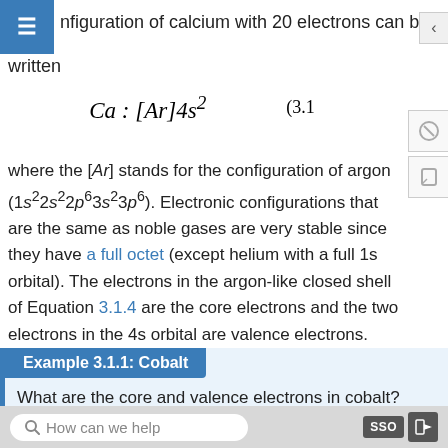nfiguration of calcium with 20 electrons can be written
where the [Ar] stands for the configuration of argon (1s²2s²2p⁶3s²3p⁶). Electronic configurations that are the same as noble gases are very stable since they have a full octet (except helium with a full 1s orbital). The electrons in the argon-like closed shell of Equation 3.1.4 are the core electrons and the two electrons in the 4s orbital are valence electrons.
Example 3.1.1: Cobalt
What are the core and valence electrons in cobalt?
How can we help   SSO